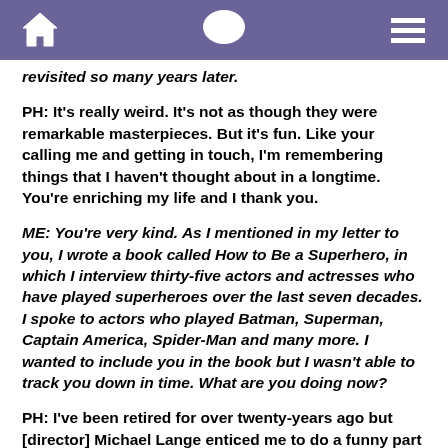[navigation icons: home, chat, menu]
revisited so many years later.
PH: It's really weird. It's not as though they were remarkable masterpieces. But it's fun. Like your calling me and getting in touch, I'm remembering things that I haven't thought about in a longtime. You're enriching my life and I thank you.
ME: You're very kind. As I mentioned in my letter to you, I wrote a book called How to Be a Superhero, in which I interview thirty-five actors and actresses who have played superheroes over the last seven decades. I spoke to actors who played Batman, Superman, Captain America, Spider-Man and many more. I wanted to include you in the book but I wasn't able to track you down in time. What are you doing now?
PH: I've been retired for over twenty-years ago but [director] Michael Lange enticed me to do a funny part –